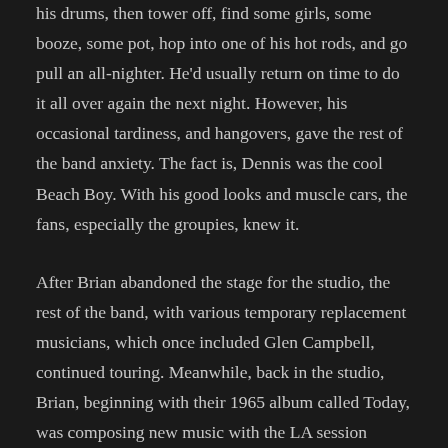his drums, then tower off, find some girls, some booze, some pot, hop into one of his hot rods, and go pull an all-nighter. He'd usually return on time to do it all over again the next night. However, his occasional tardiness, and hangovers, gave the rest of the band anxiety. The fact is, Dennis was the cool Beach Boy. With his good looks and muscle cars, the fans, especially the groupies, knew it.
After Brian abandoned the stage for the studio, the rest of the band, with various temporary replacement musicians, which once included Glen Campbell, continued touring. Meanwhile, back in the studio, Brian, beginning with their 1965 album called Today, was composing new music with the LA session musicians collectively called The Wrecking Crew. From the viewpoint of the band, Brian had replaced the Beach Boys, and their guitar-driven music, with an